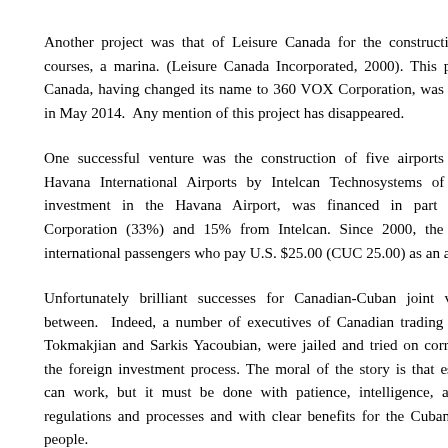Another project was that of Leisure Canada for the construction courses, a marina. (Leisure Canada Incorporated, 2000). This pro Canada, having changed its name to 360 VOX Corporation, was bo in May 2014.  Any mention of this project has disappeared.
One successful venture was the construction of five airports in Havana International Airports by Intelcan Technosystems of C investment in the Havana Airport, was financed in part by Corporation (33%) and 15% from Intelcan. Since 2000, the ul international passengers who pay U.S. $25.00 (CUC 25.00) as an a
Unfortunately brilliant successes for Canadian-Cuban joint ver between.  Indeed, a number of executives of Canadian trading en Tokmakjian and Sarkis Yacoubian, were jailed and tried on corrup the foreign investment process. The moral of the story is that esta can work, but it must be done with patience, intelligence, and regulations and processes and with clear benefits for the Cuban p people.